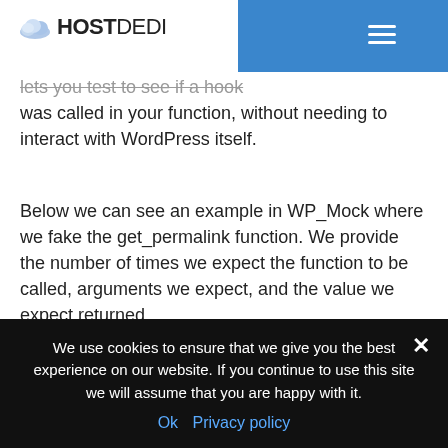HOSTDEDI
lets you test to see if a hook was called in your function, without needing to interact with WordPress itself.
Below we can see an example in WP_Mock where we fake the get_permalink function. We provide the number of times we expect the function to be called, arguments we expect, and the value we expect returned.
We use cookies to ensure that we give you the best experience on our website. If you continue to use this site we will assume that you are happy with it. Ok  Privacy policy